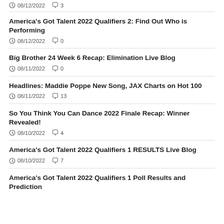08/12/2022  3
America's Got Talent 2022 Qualifiers 2: Find Out Who is Performing
08/12/2022  0
Big Brother 24 Week 6 Recap: Elimination Live Blog
08/11/2022  0
Headlines: Maddie Poppe New Song, JAX Charts on Hot 100
08/11/2022  13
So You Think You Can Dance 2022 Finale Recap: Winner Revealed!
08/10/2022  4
America's Got Talent 2022 Qualifiers 1 RESULTS Live Blog
08/10/2022  7
America's Got Talent 2022 Qualifiers 1 Poll Results and Prediction